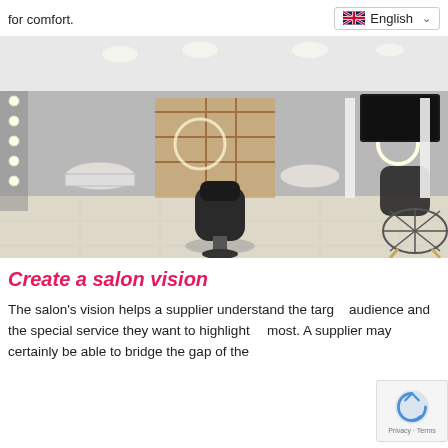for comfort.
[Figure (screenshot): Language selector widget showing UK flag and 'English' with a dropdown chevron]
[Figure (photo): Interior of a modern hair salon with black styling chairs, illuminated mirrors with bulbs, product shelving units, wash basins, and polished tile floors]
Create a salon vision
The salon's vision helps a supplier understand the target audience and the special service they want to highlight most. A supplier may certainly be able to bridge the gap of the